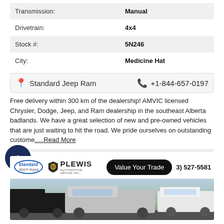| Transmission: | Manual |
| Drivetrain: | 4x4 |
| Stock #: | 5N246 |
| City: | Medicine Hat |
📍 Standard Jeep Ram   📞 +1-844-657-0197
Free delivery within 300 km of the dealership! AMVIC licensed Chrysler, Dodge, Jeep, and Ram dealership in the southeast Alberta badlands. We have a great selection of new and pre-owned vehicles that are just waiting to hit the road. We pride ourselves on outstanding custome.....Read More
[Figure (photo): Standard Jeep Ram and Plewis Automotive Group advertisement banner with Value Your Trade button, phone number (3) 527-5581, and a photo of trucks at a dealership lot with diamond logo.]